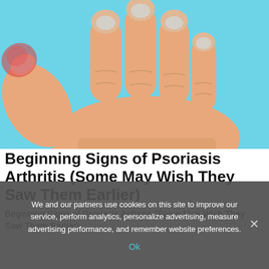[Figure (illustration): Medical illustration of a hand with fingers extended, with a red/inflamed area highlighted on the index finger near the top joint, against a light blue background, suggesting psoriatic arthritis joint inflammation.]
Beginning Signs of Psoriasis Arthritis (Some May Wish They Saw Them Earlier)
Beginning Signs of Psoriasis Arthritis (Some May Wish They Saw Them Earlier)
We and our partners use cookies on this site to improve our service, perform analytics, personalize advertising, measure advertising performance, and remember website preferences.